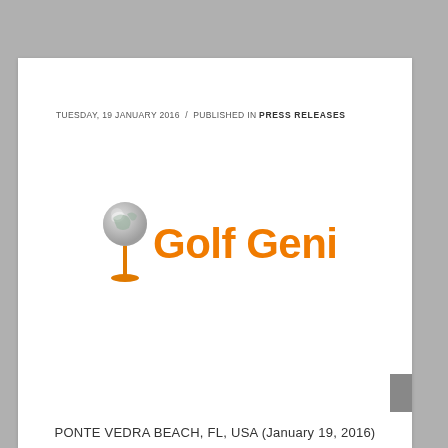TUESDAY, 19 JANUARY 2016  /  PUBLISHED IN PRESS RELEASES
[Figure (logo): Golf Genius logo: a golf ball on a tee (silver globe design) followed by orange text 'Golf Genius']
PONTE VEDRA BEACH, FL, USA (January 19, 2016)